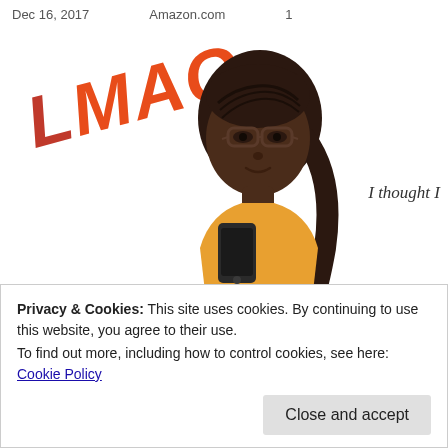| Dec 16, 2017 | Amazon.com | 1 |
| --- | --- | --- |
[Figure (illustration): Cartoon bitmoji avatar of a dark-skinned woman with braided hair in a ponytail, wearing glasses and an orange/yellow top, looking at a smartphone. Text 'LMAO' in large orange italic letters appears to the left of the figure, and italic text 'I thought I' appears to the right.]
Privacy & Cookies: This site uses cookies. By continuing to use this website, you agree to their use.
To find out more, including how to control cookies, see here: Cookie Policy
Close and accept